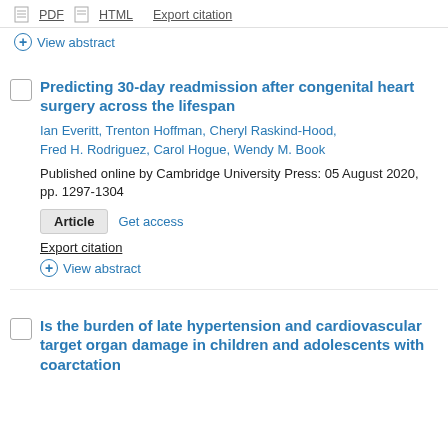PDF  HTML  Export citation
⊕ View abstract
Predicting 30-day readmission after congenital heart surgery across the lifespan
Ian Everitt, Trenton Hoffman, Cheryl Raskind-Hood, Fred H. Rodriguez, Carol Hogue, Wendy M. Book
Published online by Cambridge University Press: 05 August 2020, pp. 1297-1304
Article  Get access
Export citation
⊕ View abstract
Is the burden of late hypertension and cardiovascular target organ damage in children and adolescents with coarctation